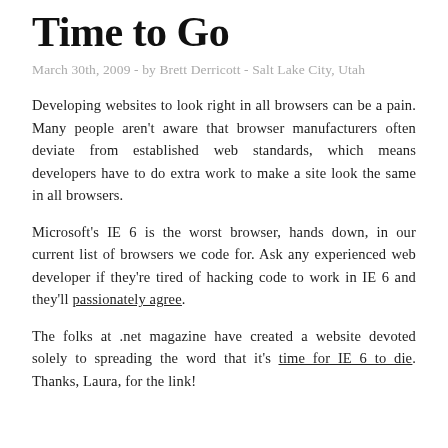Time to Go
March 30th, 2009 - by Brett Derricott - Salt Lake City, Utah
Developing websites to look right in all browsers can be a pain. Many people aren't aware that browser manufacturers often deviate from established web standards, which means developers have to do extra work to make a site look the same in all browsers.
Microsoft's IE 6 is the worst browser, hands down, in our current list of browsers we code for. Ask any experienced web developer if they're tired of hacking code to work in IE 6 and they'll passionately agree.
The folks at .net magazine have created a website devoted solely to spreading the word that it's time for IE 6 to die. Thanks, Laura, for the link!